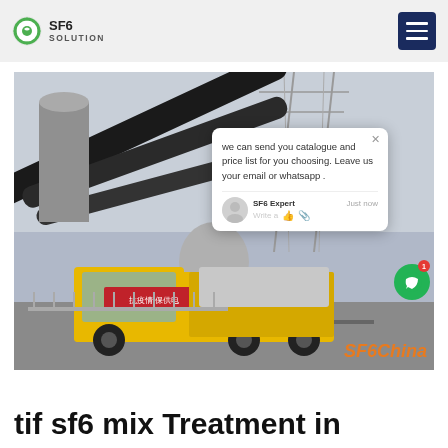SF6 SOLUTION
[Figure (photo): Yellow utility truck with SF6 gas handling equipment at a high-voltage electrical substation with large transmission towers and cables. Chinese text on truck banner. SF6China watermark in orange at bottom right.]
we can send you catalogue and price list for you choosing. Leave us your email or whatsapp .
tif sf6 mix Treatment in